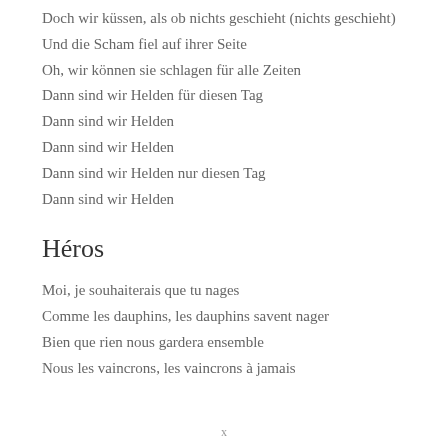Doch wir küssen, als ob nichts geschieht (nichts geschieht)
Und die Scham fiel auf ihrer Seite
Oh, wir können sie schlagen für alle Zeiten
Dann sind wir Helden für diesen Tag
Dann sind wir Helden
Dann sind wir Helden
Dann sind wir Helden nur diesen Tag
Dann sind wir Helden
Héros
Moi, je souhaiterais que tu nages
Comme les dauphins, les dauphins savent nager
Bien que rien nous gardera ensemble
Nous les vaincrons, les vaincrons à jamais
x